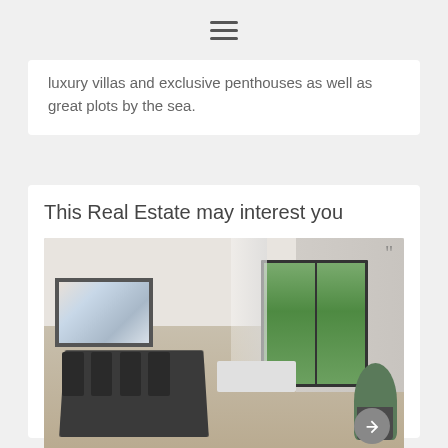☰
luxury villas and exclusive penthouses as well as great plots by the sea.
This Real Estate may interest you
[Figure (photo): Interior photo of a modern apartment living/dining room with black dining table and chairs, white sofa, large artwork on wall, sliding glass doors to garden, and a potted plant in the corner.]